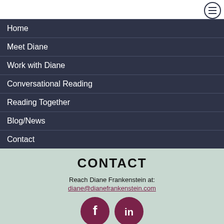[Figure (other): Hamburger menu icon (three horizontal lines) in a circle, top right corner]
Home
Meet Diane
Work with Diane
Conversational Reading
Reading Together
Blog/News
Contact
CONTACT
Reach Diane Frankenstein at:
diane@dianefrankenstein.com
[Figure (logo): Facebook and LinkedIn social media icons, dark red/maroon circles with white f and in logos]
© 2022 Diane Frankenstein. All Rights Reserved.